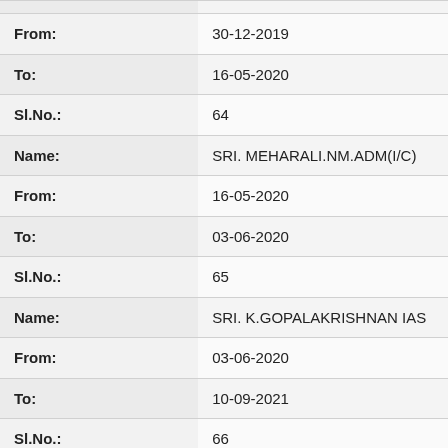| Field | Value |
| --- | --- |
| From: | 30-12-2019 |
| To: | 16-05-2020 |
| Sl.No.: | 64 |
| Name: | SRI. MEHARALI.NM.ADM(I/C) |
| From: | 16-05-2020 |
| To: | 03-06-2020 |
| Sl.No.: | 65 |
| Name: | SRI. K.GOPALAKRISHNAN IAS |
| From: | 03-06-2020 |
| To: | 10-09-2021 |
| Sl.No.: | 66 |
| Name: | SRI. V.R PREMKUMAR IAS |
| From: | 10-09-2021 |